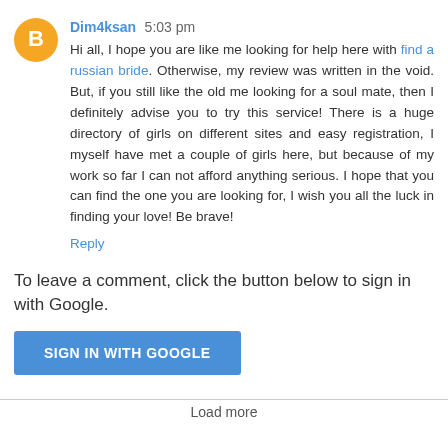Dim4ksan 5:03 pm
Hi all, I hope you are like me looking for help here with find a russian bride. Otherwise, my review was written in the void. But, if you still like the old me looking for a soul mate, then I definitely advise you to try this service! There is a huge directory of girls on different sites and easy registration, I myself have met a couple of girls here, but because of my work so far I can not afford anything serious. I hope that you can find the one you are looking for, I wish you all the luck in finding your love! Be brave!
Reply
To leave a comment, click the button below to sign in with Google.
SIGN IN WITH GOOGLE
Load more